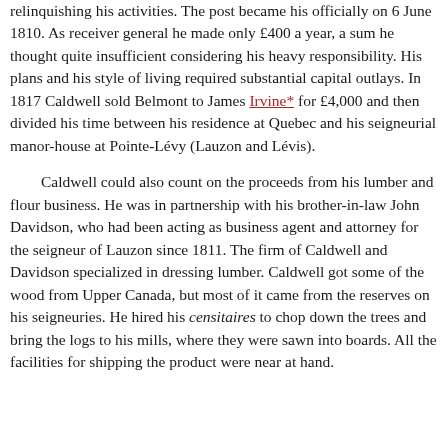relinquishing his activities. The post became his officially on 6 June 1810. As receiver general he made only £400 a year, a sum he thought quite insufficient considering his heavy responsibility. His plans and his style of living required substantial capital outlays. In 1817 Caldwell sold Belmont to James Irvine* for £4,000 and then divided his time between his residence at Quebec and his seigneurial manor-house at Pointe-Lévy (Lauzon and Lévis).
Caldwell could also count on the proceeds from his lumber and flour business. He was in partnership with his brother-in-law John Davidson, who had been acting as business agent and attorney for the seigneur of Lauzon since 1811. The firm of Caldwell and Davidson specialized in dressing lumber. Caldwell got some of the wood from Upper Canada, but most of it came from the reserves on his seigneuries. He hired his censitaires to chop down the trees and bring the logs to his mills, where they were sawn into boards. All the facilities for shipping the product were near at hand.